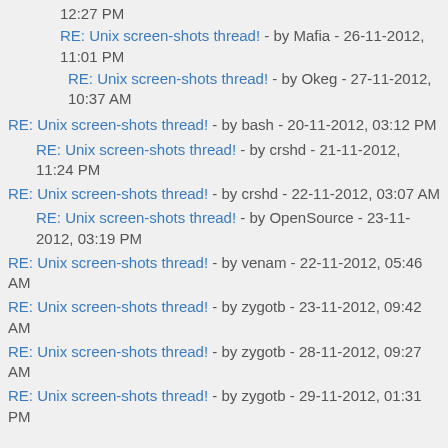12:27 PM
RE: Unix screen-shots thread! - by Mafia - 26-11-2012, 11:01 PM
RE: Unix screen-shots thread! - by Okeg - 27-11-2012, 10:37 AM
RE: Unix screen-shots thread! - by bash - 20-11-2012, 03:12 PM
RE: Unix screen-shots thread! - by crshd - 21-11-2012, 11:24 PM
RE: Unix screen-shots thread! - by crshd - 22-11-2012, 03:07 AM
RE: Unix screen-shots thread! - by OpenSource - 23-11-2012, 03:19 PM
RE: Unix screen-shots thread! - by venam - 22-11-2012, 05:46 AM
RE: Unix screen-shots thread! - by zygotb - 23-11-2012, 09:42 AM
RE: Unix screen-shots thread! - by zygotb - 28-11-2012, 09:27 AM
RE: Unix screen-shots thread! - by zygotb - 29-11-2012, 01:31 PM